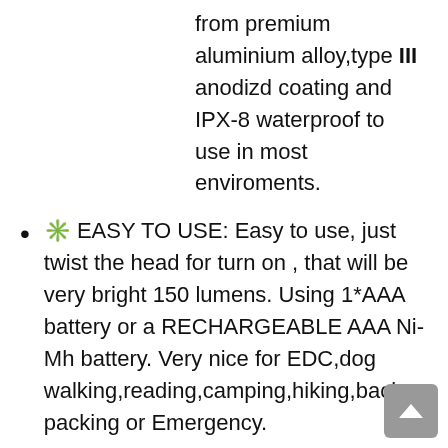from premium aluminium alloy,type III anodizd coating and IPX-8 waterproof to use in most enviroments.
✳️ EASY TO USE️: Easy to use, just twist the head for turn on , that will be very bright 150 lumens. Using 1*AAA battery or a RECHARGEABLE AAA Ni-Mh battery. Very nice for EDC,dog walking,reading,camping,hiking,back packing or Emergency.
♥️GOOD VALUE YOU MAY GET️: a mini K1 keychain flashlight,a nice diffuser,a beautiful keychain,all in a nice package gift box. very nice